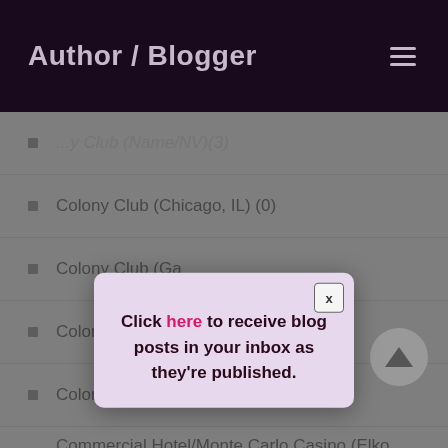Author / Blogger
...y Club (Name/NV)(3)
Colony Club (Chicago, IL) (0)
Colony Club (Ga...
Colony Club (Lo...
Colony Club (Re...
Commercial Hotel/Monte Carlo Casino (Elko, NV) (3)
Continental Press Service (Chicago, IL) (3)
Cosmo Club (Reno, NV) (1)
[Figure (other): Modal popup overlay with close button and text: Click here to receive blog posts in your inbox as they're published.]